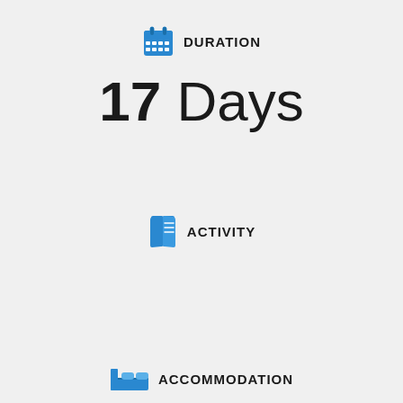DURATION
17 Days
ACTIVITY
Trekking
ACCOMMODATION